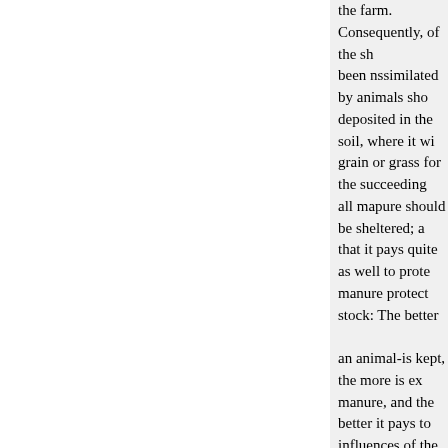the farm. Consequently, of the sh been nssimilated by animals sho deposited in the soil, where it wi grain or grass for the succeeding all mapure should be sheltered; a that it pays quite as well to prote manure protect stock: The better an animal-is kept, the more is ex manure, and the better it pays to influences of the weatlier! The o , to of cattle, which consume s making beef meal per day, will b make farining pay as that is from a producer. Point to subsist on str consume, yearly, a good por I have always considered raisi mutton, and important steps towa of barn-yard ma a man computes appearances in influenced by what seems to be t generation, duce a given result, h foreign manure is ished and ruin